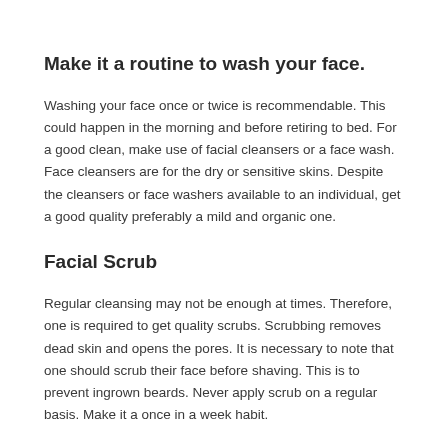Make it a routine to wash your face.
Washing your face once or twice is recommendable. This could happen in the morning and before retiring to bed. For a good clean, make use of facial cleansers or a face wash. Face cleansers are for the dry or sensitive skins. Despite the cleansers or face washers available to an individual, get a good quality preferably a mild and organic one.
Facial Scrub
Regular cleansing may not be enough at times. Therefore, one is required to get quality scrubs. Scrubbing removes dead skin and opens the pores. It is necessary to note that one should scrub their face before shaving. This is to prevent ingrown beards. Never apply scrub on a regular basis. Make it a once in a week habit.